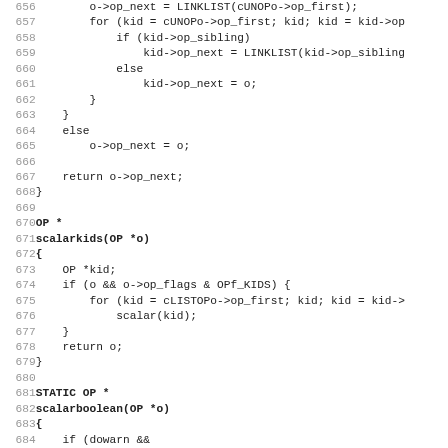[Figure (other): Source code listing in C showing lines 656-688, including functions scalarkids and scalarboolean with line numbers on the left in gray and code in monospace font]